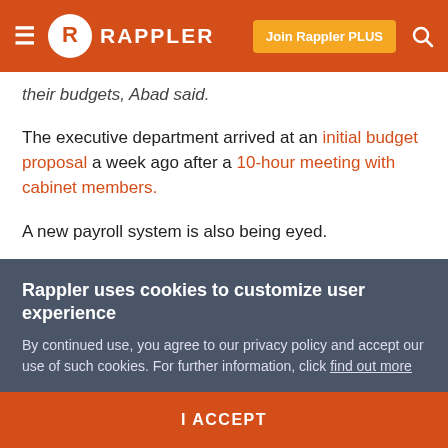Rappler — navigation bar with hamburger menu, logo, Join Rappler PLUS button, search icon
their budgets, Abad said.
The executive department arrived at an initial budget proposal a week ago after a 10-hour meeting with cabinet members.
A new payroll system is also being eyed.
In an effort to make the payroll system for government agencies more efficient, Abad said the salaries of government employees will no longer be devolved to their
Rappler uses cookies to customize user experience
By continued use, you agree to our privacy policy and accept our use of such cookies. For further information, click find out more
I ACCEPT